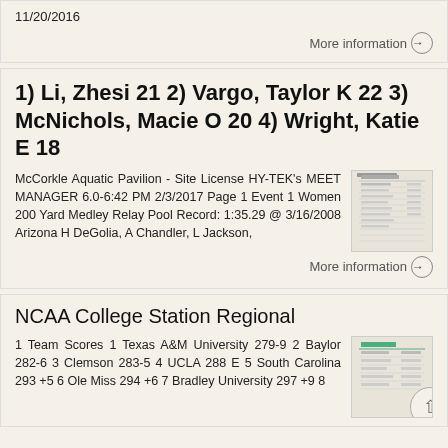11/20/2016
More information →
1) Li, Zhesi 21 2) Vargo, Taylor K 22 3) McNichols, Macie O 20 4) Wright, Katie E 18
McCorkle Aquatic Pavilion - Site License HY-TEK's MEET MANAGER 6.0-6:42 PM 2/3/2017 Page 1 Event 1 Women 200 Yard Medley Relay Pool Record: 1:35.29 @ 3/16/2008 Arizona H DeGolia, A Chandler, L Jackson,
[Figure (table-as-image): Thumbnail of a results table]
More information →
NCAA College Station Regional
1 Team Scores 1 Texas A&M University 279-9 2 Baylor 282-6 3 Clemson 283-5 4 UCLA 288 E 5 South Carolina 293 +5 6 Ole Miss 294 +6 7 Bradley University 297 +9 8
[Figure (table-as-image): Thumbnail of NCAA team scores table]